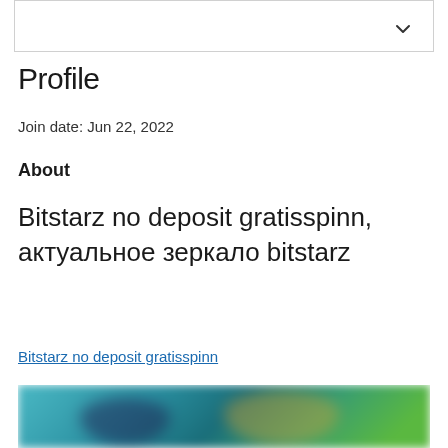Profile
Join date: Jun 22, 2022
About
Bitstarz no deposit gratisspinn, актуальное зеркало bitstarz
Bitstarz no deposit gratisspinn
[Figure (photo): Blurred image of animated or game characters on a colorful background]